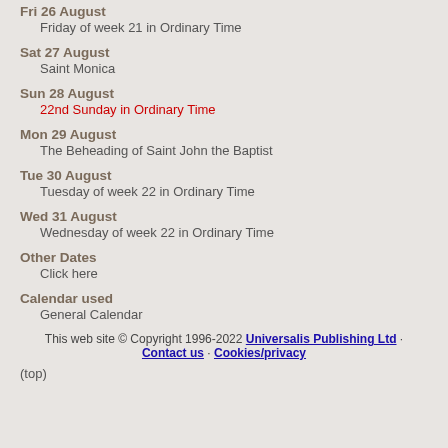Fri 26 August
  Friday of week 21 in Ordinary Time
Sat 27 August
  Saint Monica
Sun 28 August
  22nd Sunday in Ordinary Time
Mon 29 August
  The Beheading of Saint John the Baptist
Tue 30 August
  Tuesday of week 22 in Ordinary Time
Wed 31 August
  Wednesday of week 22 in Ordinary Time
Other Dates
  Click here
Calendar used
  General Calendar
This web site © Copyright 1996-2022 Universalis Publishing Ltd · Contact us · Cookies/privacy
(top)